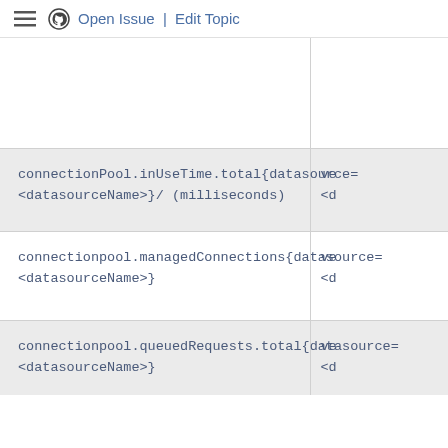Open Issue | Edit Topic
| Metric Name | Value |
| --- | --- |
| connectionPool.inUseTime.total{datasource=<datasourceName>}/ (milliseconds) | ve <d |
| connectionpool.managedConnections{datasource=<datasourceName>} | ve <d |
| connectionpool.queuedRequests.total{datasource=<datasourceName>} | ve <d |